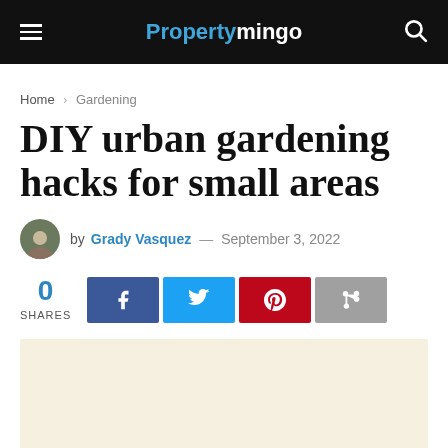Propertymingo
Home > Gardening
DIY urban gardening hacks for small areas
by Grady Vasquez — September 3, 2022
0 SHARES
[Figure (other): Beige/cream advertisement placeholder box]